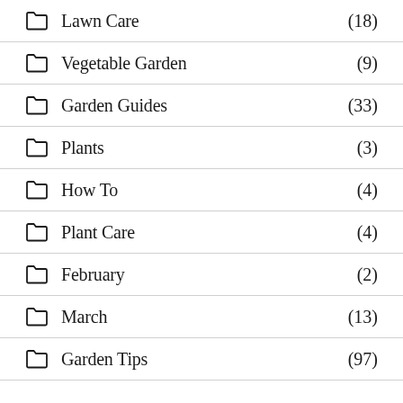Lawn Care (18)
Vegetable Garden (9)
Garden Guides (33)
Plants (3)
How To (4)
Plant Care (4)
February (2)
March (13)
Garden Tips (97)